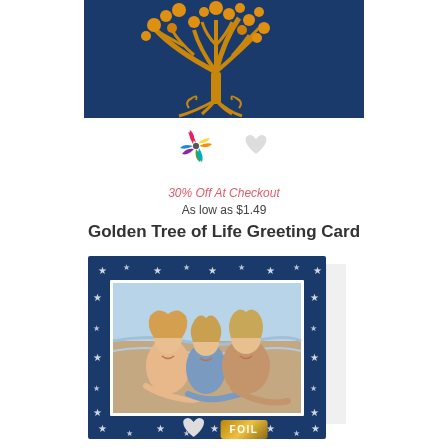[Figure (illustration): Navy blue greeting card with golden tree of life design on dark blue background]
[Figure (logo): Colorful pinwheel/flower logo icon and a gray heart icon]
30% Off At Checkout
As low as $1.49
Golden Tree of Life Greeting Card
[Figure (photo): Greeting card with navy blue star-bordered frame containing a photo of three children lying on a beach, with a card tab visible on right side]
[Figure (logo): Gray heart icon and gold FOIL badge label]